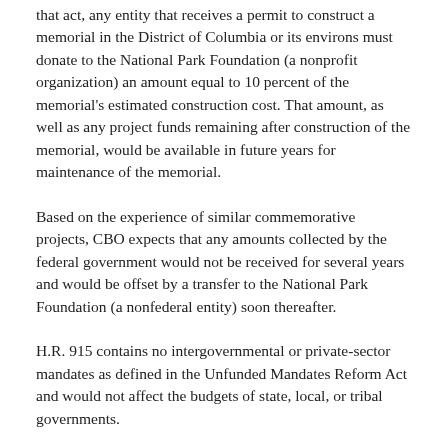that act, any entity that receives a permit to construct a memorial in the District of Columbia or its environs must donate to the National Park Foundation (a nonprofit organization) an amount equal to 10 percent of the memorial's estimated construction cost. That amount, as well as any project funds remaining after construction of the memorial, would be available in future years for maintenance of the memorial.
Based on the experience of similar commemorative projects, CBO expects that any amounts collected by the federal government would not be received for several years and would be offset by a transfer to the National Park Foundation (a nonfederal entity) soon thereafter.
H.R. 915 contains no intergovernmental or private-sector mandates as defined in the Unfunded Mandates Reform Act and would not affect the budgets of state, local, or tribal governments.